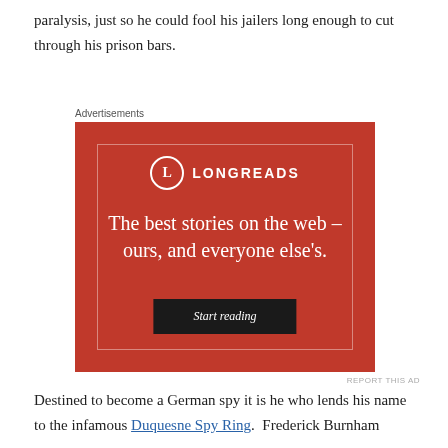paralysis, just so he could fool his jailers long enough to cut through his prison bars.
Advertisements
[Figure (other): Longreads advertisement on red background with text: The best stories on the web – ours, and everyone else's. Start reading button.]
Destined to become a German spy it is he who lends his name to the infamous Duquesne Spy Ring.  Frederick Burnham